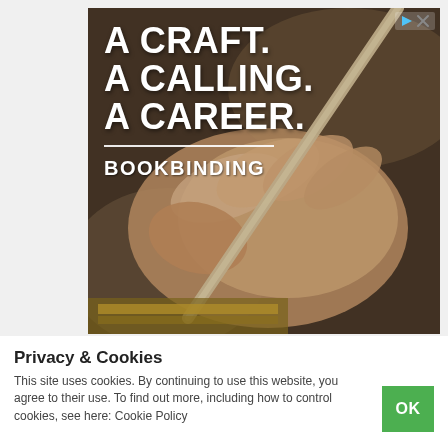[Figure (photo): Advertisement banner showing a hand holding a wooden tool (awl or bone folder) working on a bookbinding project. Text overlay reads 'A CRAFT. A CALLING. A CAREER.' with 'BOOKBINDING' below a white divider line. Small ad controls (play/close icons) in top-right corner.]
Privacy & Cookies
This site uses cookies. By continuing to use this website, you agree to their use. To find out more, including how to control cookies, see here: Cookie Policy